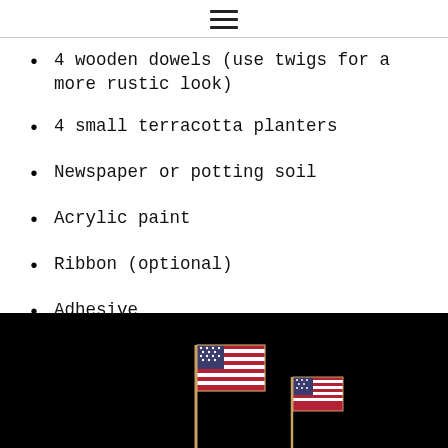≡
4 wooden dowels (use twigs for a more rustic look)
4 small terracotta planters
Newspaper or potting soil
Acrylic paint
Ribbon (optional)
Adhesive
[Figure (photo): Two small American flags on sticks against a black background]